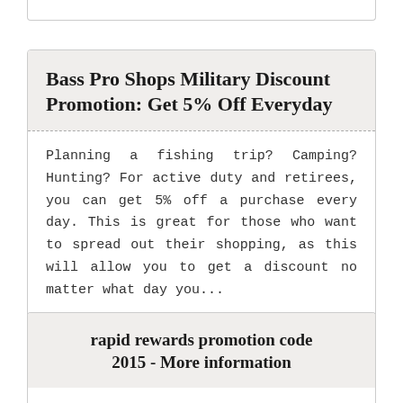Bass Pro Shops Military Discount Promotion: Get 5% Off Everyday
Planning a fishing trip? Camping? Hunting? For active duty and retirees, you can get 5% off a purchase every day. This is great for those who want to spread out their shopping, as this will allow you to get a discount no matter what day you...
CHECK INFO
rapid rewards promotion code 2015 - More information